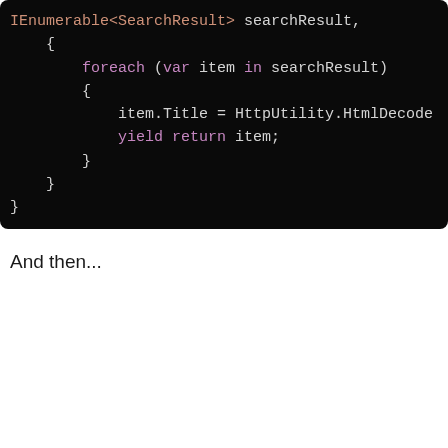[Figure (screenshot): Code snippet on dark background showing C# code with IEnumerable<SearchResult> searchResult parameter, foreach loop, item.Title = HttpUtility.HtmlDecode assignment, and yield return item statement.]
And then...